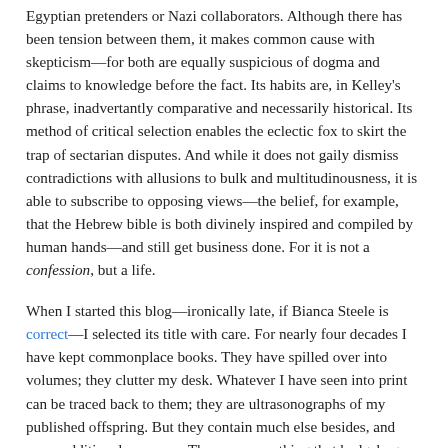Egyptian pretenders or Nazi collaborators. Although there has been tension between them, it makes common cause with skepticism—for both are equally suspicious of dogma and claims to knowledge before the fact. Its habits are, in Kelley's phrase, inadvertantly comparative and necessarily historical. Its method of critical selection enables the eclectic fox to skirt the trap of sectarian disputes. And while it does not gaily dismiss contradictions with allusions to bulk and multitudinousness, it is able to subscribe to opposing views—the belief, for example, that the Hebrew bible is both divinely inspired and compiled by human hands—and still get business done. For it is not a confession, but a life.
When I started this blog—ironically late, if Bianca Steele is correct—I selected its title with care. For nearly four decades I have kept commonplace books. They have spilled over into volumes; they clutter my desk. Whatever I have seen into print can be traced back to them; they are ultrasonographs of my published offspring. But they contain much else besides, and serve additional purposes. They are everything that hedgehogs dislike—they are fragmentary, merely dredged up and raked in, a slow stumble through literature—but they